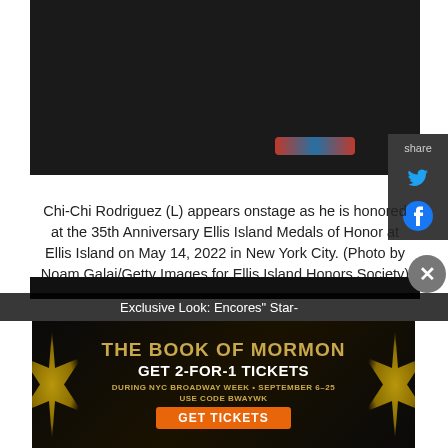[Figure (photo): Dark stage photo showing legs and feet of performers, with colorful Union Jack-style fabric on the floor, at Ellis Island event]
Chi-Chi Rodriguez (L) appears onstage as he is honored at the 35th Anniversary Ellis Island Medals of Honor at Ellis Island on May 14, 2022 in New York City. (Photo by Noam Galai/Getty Images for Ellis Island Honors Society)
[Figure (photo): Second photo partially visible, showing dark stage scene]
Exclusive Look: Encores" Star-
[Figure (infographic): Advertisement for The Book of Mormon musical - GET 2-FOR-1 TICKETS during NYC Broadway Week, September 6-25, use code BWAYWK, GET TICKETS]